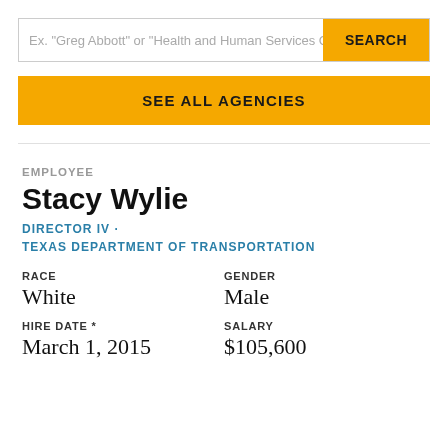Ex. "Greg Abbott" or "Health and Human Services C…
SEARCH
SEE ALL AGENCIES
EMPLOYEE
Stacy Wylie
DIRECTOR IV · TEXAS DEPARTMENT OF TRANSPORTATION
RACE
White
GENDER
Male
HIRE DATE *
March 1, 2015
SALARY
$105,600